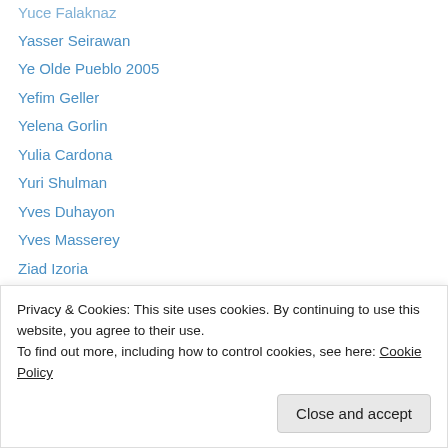Yasser Seirawan
Ye Olde Pueblo 2005
Yefim Geller
Yelena Gorlin
Yulia Cardona
Yuri Shulman
Yves Duhayon
Yves Masserey
Ziad Izoria
AUGUST 2022
Privacy & Cookies: This site uses cookies. By continuing to use this website, you agree to their use. To find out more, including how to control cookies, see here: Cookie Policy